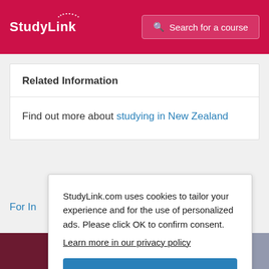StudyLink — Search for a course
Related Information
Find out more about studying in New Zealand
For I[nstitutions]
StudyLink.com uses cookies to tailor your experience and for the use of personalized ads. Please click OK to confirm consent.
Learn more in our privacy policy
OK